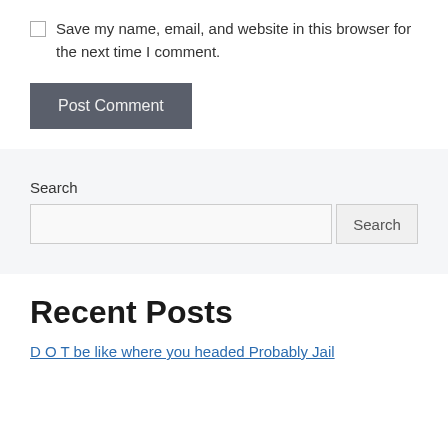Save my name, email, and website in this browser for the next time I comment.
Post Comment
Search
Search
Recent Posts
D O T be like where you headed Probably Jail